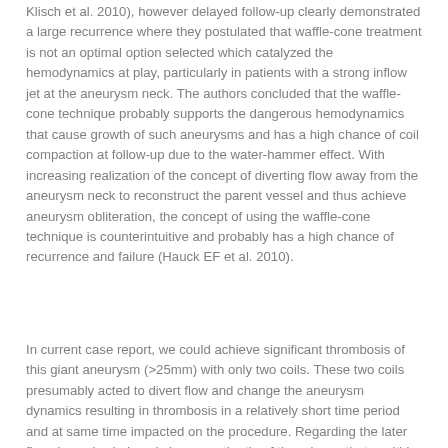Klisch et al. 2010), however delayed follow-up clearly demonstrated a large recurrence where they postulated that waffle-cone treatment is not an optimal option selected which catalyzed the hemodynamics at play, particularly in patients with a strong inflow jet at the aneurysm neck. The authors concluded that the waffle-cone technique probably supports the dangerous hemodynamics that cause growth of such aneurysms and has a high chance of coil compaction at follow-up due to the water-hammer effect. With increasing realization of the concept of diverting flow away from the aneurysm neck to reconstruct the parent vessel and thus achieve aneurysm obliteration, the concept of using the waffle-cone technique is counterintuitive and probably has a high chance of recurrence and failure (Hauck EF et al. 2010).
In current case report, we could achieve significant thrombosis of this giant aneurysm (>25mm) with only two coils. These two coils presumably acted to divert flow and change the aneurysm dynamics resulting in thrombosis in a relatively short time period and at same time impacted on the procedure. Regarding the later flow dynamics induced changes , the tip of the microcatheter within the aneurysm became unstable